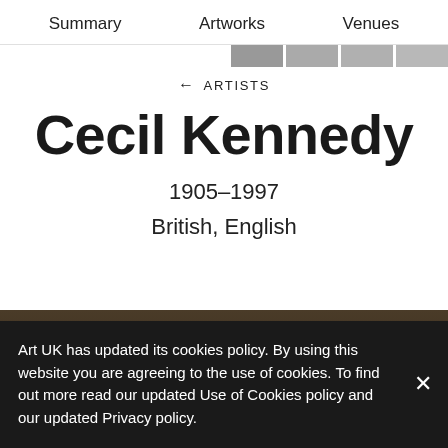Summary  Artworks  Venues
[Figure (other): Navigation progress bar with four grey segments]
← ARTISTS
Cecil Kennedy
1905–1997
British, English
[Figure (photo): Partial view of a dark brown painted artwork]
Art UK has updated its cookies policy. By using this website you are agreeing to the use of cookies. To find out more read our updated Use of Cookies policy and our updated Privacy policy.